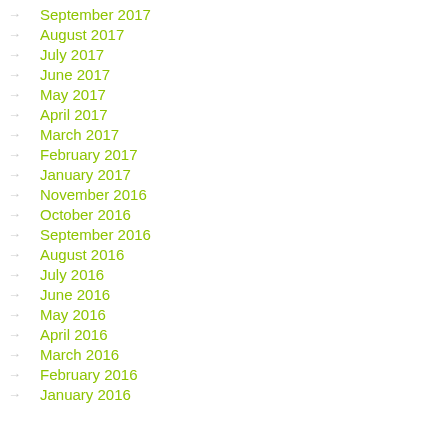→ September 2017
→ August 2017
→ July 2017
→ June 2017
→ May 2017
→ April 2017
→ March 2017
→ February 2017
→ January 2017
→ November 2016
→ October 2016
→ September 2016
→ August 2016
→ July 2016
→ June 2016
→ May 2016
→ April 2016
→ March 2016
→ February 2016
→ January 2016